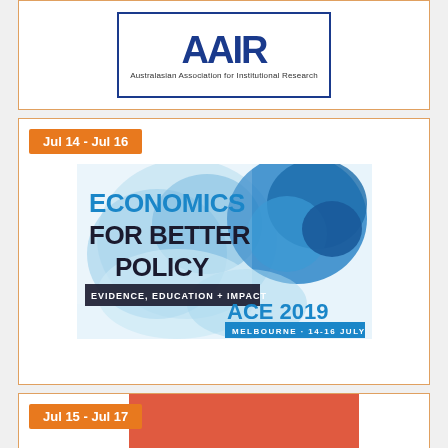[Figure (logo): AAIR logo - Australasian Association for Institutional Research, blue border box with stylized letters AAIR and subtitle text]
Jul 14 - Jul 16
[Figure (illustration): ACE 2019 conference banner: Economics for Better Policy, Evidence, Education + Impact, Melbourne 14-16 July, with blue ink splash graphic]
Jul 15 - Jul 17